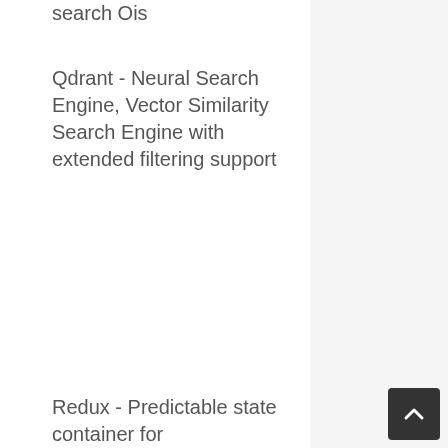search Ois
Qdrant - Neural Search Engine, Vector Similarity Search Engine with extended filtering support
Redux - Predictable state container for